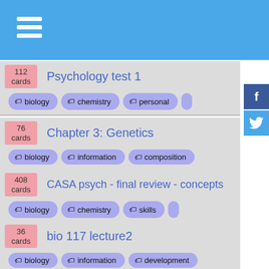Navigation header with hamburger menu
112 cards — Psychology test 1 — tags: biology, chemistry, personal
76 cards — Chapter 3: Genetics — tags: biology, information, composition
408 cards — CASA psych - final review - concepts — tags: biology, chemistry, skills
36 cards — bio 117 lecture2 — tags: biology, information, development
125 cards — UBC Psych. 102 Midterm — tags: personal, computer, information
2513 cards — Word 5000 — tags: accounting, animals, religion
137 cards — Psychology 102